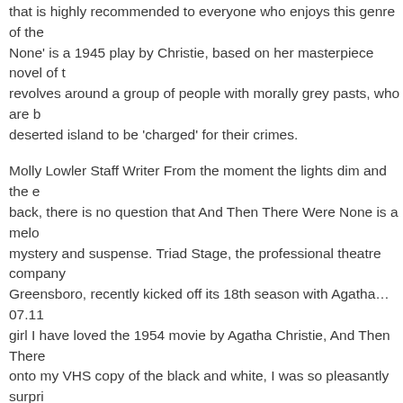that is highly recommended to everyone who enjoys this genre of the… None' is a 1945 play by Christie, based on her masterpiece novel of t… revolves around a group of people with morally grey pasts, who are b… deserted island to be 'charged' for their crimes.
Molly Lowler Staff Writer From the moment the lights dim and the e… back, there is no question that And Then There Were None is a melo… mystery and suspense. Triad Stage, the professional theatre company… Greensboro, recently kicked off its 18th season with Agatha… 07.11… girl I have loved the 1954 movie by Agatha Christie, And Then There… onto my VHS copy of the black and white, I was so pleasantly surpri… this play on and was even more surprised after watching these fantas… so well.
Start studying And Then There Were None Review 2. Learn vocabula… flashcards, games, and other study tools. Read reviews and ratings of… There Were None from our experts, and see what our community say…
28.01.2020 · A list of all the characters in And Then There Were Non…